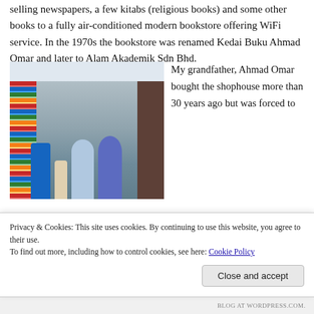selling newspapers, a few kitabs (religious books) and some other books to a fully air-conditioned modern bookstore offering WiFi service. In the 1970s the bookstore was renamed Kedai Buku Ahmad Omar and later to Alam Akademik Sdn Bhd.
[Figure (photo): Interior of a bookstore with shelves full of books and stationery. Several customers are visible including a man in a blue jacket, a child, and women in hijabs. Shelves line both sides and the back wall is made of dark wood.]
My grandfather, Ahmad Omar bought the shophouse more than 30 years ago but was forced to
Privacy & Cookies: This site uses cookies. By continuing to use this website, you agree to their use.
To find out more, including how to control cookies, see here: Cookie Policy
Close and accept